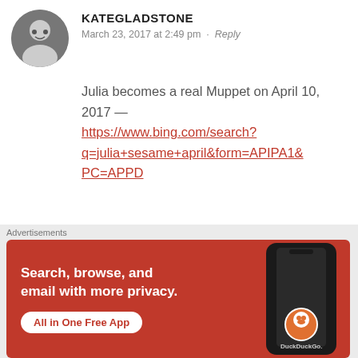[Figure (photo): Circular avatar photo of the commenter, showing a person's face]
KATEGLADSTONE
March 23, 2017 at 2:49 pm · Reply
Julia becomes a real Muppet on April 10, 2017 — https://www.bing.com/search?q=julia+sesame+april&form=APIPA1&PC=APPD
★ Like
[Figure (photo): Partial circular avatar of next commenter at bottom]
[Figure (infographic): DuckDuckGo advertisement banner: Search, browse, and email with more privacy. All in One Free App. Shows phone with DuckDuckGo logo.]